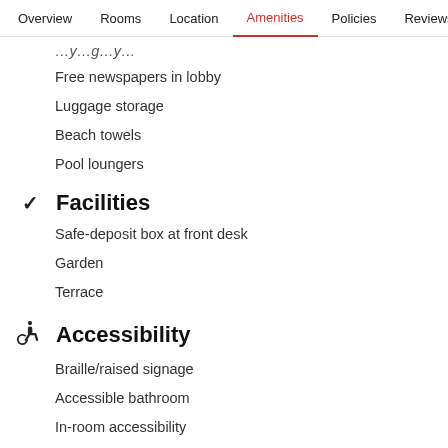Overview  Rooms  Location  Amenities  Policies  Reviews
… y … g … y …
Free newspapers in lobby
Luggage storage
Beach towels
Pool loungers
Facilities
Safe-deposit box at front desk
Garden
Terrace
Accessibility
Braille/raised signage
Accessible bathroom
In-room accessibility
Roll-in shower
Wheelchair accessible